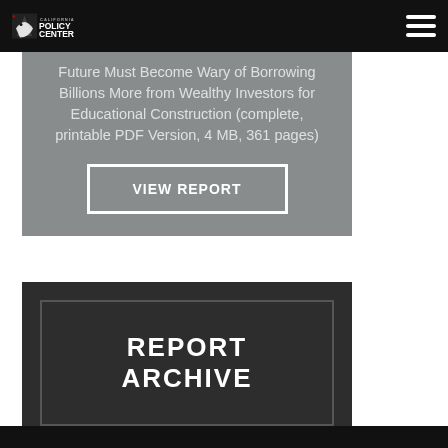California Policy Center — navigation bar with logo and hamburger menu
Future Must Become Wary of Borrowing Billions More from Wealthy Investors for Educational Construction (complete, printable PDF Version, 4 MB, 361 pages)
VIEW REPORT
REPORT ARCHIVE